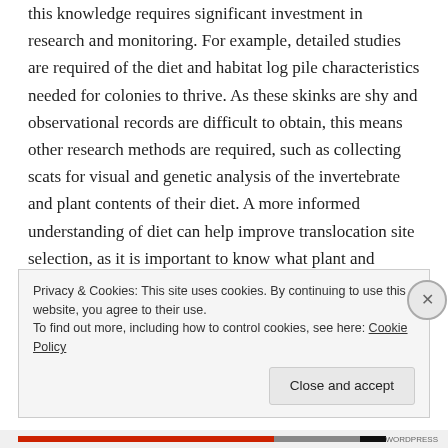this knowledge requires significant investment in research and monitoring. For example, detailed studies are required of the diet and habitat log pile characteristics needed for colonies to thrive. As these skinks are shy and observational records are difficult to obtain, this means other research methods are required, such as collecting scats for visual and genetic analysis of the invertebrate and plant contents of their diet. A more informed understanding of diet can help improve translocation site selection, as it is important to know what plant and animal species are important food
Privacy & Cookies: This site uses cookies. By continuing to use this website, you agree to their use.
To find out more, including how to control cookies, see here: Cookie Policy
Close and accept